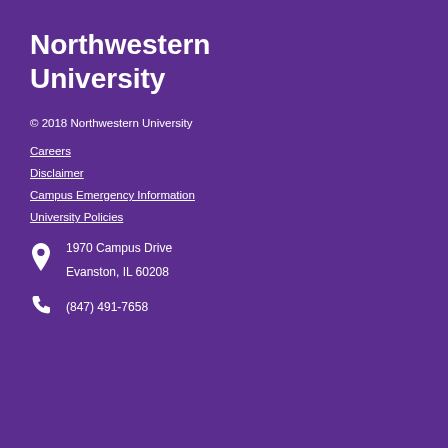Northwestern University
© 2018 Northwestern University
Careers
Disclaimer
Campus Emergency Information
University Policies
1970 Campus Drive
Evanston, IL 60208
(847) 491-7658